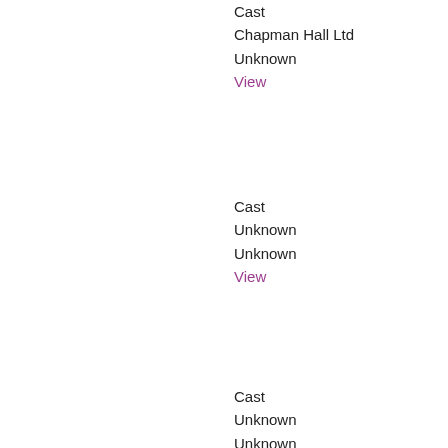Cast
Chapman Hall Ltd
Unknown
View
Cast
Unknown
Unknown
View
Cast
Unknown
Unknown